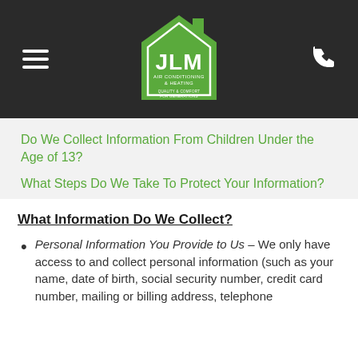[Figure (logo): JLM Air Conditioning & Heating logo — green house shape with JLM text, 'Quality & Comfort For Generations' tagline, on dark background header with hamburger menu icon and phone icon]
Do We Collect Information From Children Under the Age of 13?
What Steps Do We Take To Protect Your Information?
What Information Do We Collect?
Personal Information You Provide to Us – We only have access to and collect personal information (such as your name, date of birth, social security number, credit card number, mailing or billing address, telephone